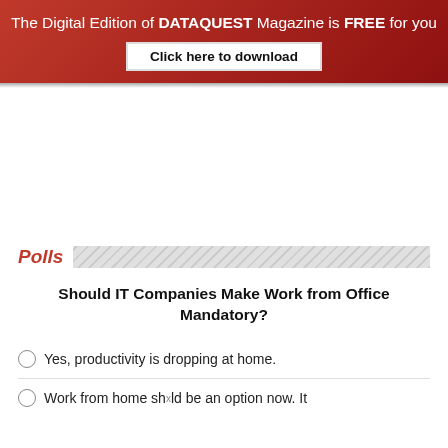The Digital Edition of DATAQUEST Magazine is FREE for you
Click here to download
Polls
Should IT Companies Make Work from Office Mandatory?
Yes, productivity is dropping at home.
Work from home should be an option now. It